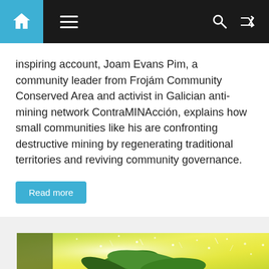Navigation bar with home, menu, search and shuffle icons
inspiring account, Joam Evans Pim, a community leader from Frojám Community Conserved Area and activist in Galician anti-mining network ContraMINAcción, explains how small communities like his are confronting destructive mining by regenerating traditional territories and reviving community governance.
Read more
[Figure (photo): A green plant with water droplets splashing around it against a bright yellow-green blurred background]